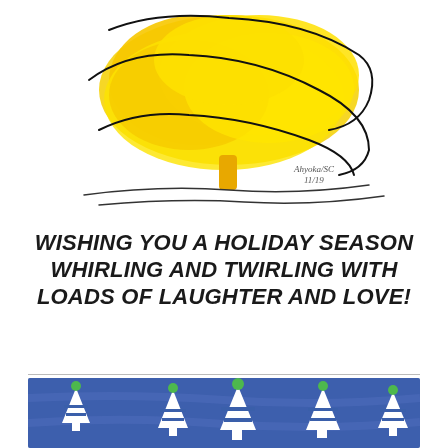[Figure (illustration): Child's watercolor painting of a yellow fluffy tree with black swirling lines around it, a yellow trunk, and simple ground lines. Signed 'Ahyoka/SC 11/19' in the lower right.]
WISHING YOU A HOLIDAY SEASON WHIRLING AND TWIRLING WITH LOADS OF LAUGHTER AND LOVE!
[Figure (illustration): Child's painting showing white stylized Christmas trees on a blue background with green circular ornament dots.]